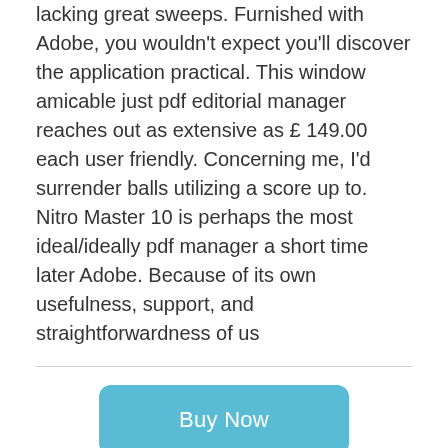lacking great sweeps. Furnished with Adobe, you wouldn't expect you'll discover the application practical. This window amicable just pdf editorial manager reaches out as extensive as £ 149.00 each user friendly. Concerning me, I'd surrender balls utilizing a score up to. Nitro Master 10 is perhaps the most ideal/ideally pdf manager a short time later Adobe. Because of its own usefulness, support, and straightforwardness of us
[Figure (other): A teal/cyan rounded rectangle button labeled 'Buy Now']
GET 857 AREA CODE VIRTUAL PHONE NUMBER